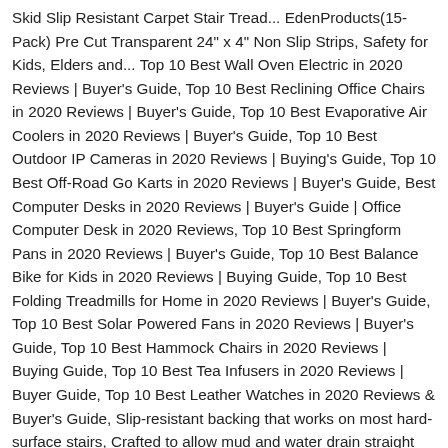Skid Slip Resistant Carpet Stair Tread... EdenProducts(15-Pack) Pre Cut Transparent 24" x 4" Non Slip Strips, Safety for Kids, Elders and... Top 10 Best Wall Oven Electric in 2020 Reviews | Buyer's Guide, Top 10 Best Reclining Office Chairs in 2020 Reviews | Buyer's Guide, Top 10 Best Evaporative Air Coolers in 2020 Reviews | Buyer's Guide, Top 10 Best Outdoor IP Cameras in 2020 Reviews | Buying's Guide, Top 10 Best Off-Road Go Karts in 2020 Reviews | Buyer's Guide, Best Computer Desks in 2020 Reviews | Buyer's Guide | Office Computer Desk in 2020 Reviews, Top 10 Best Springform Pans in 2020 Reviews | Buyer's Guide, Top 10 Best Balance Bike for Kids in 2020 Reviews | Buying Guide, Top 10 Best Folding Treadmills for Home in 2020 Reviews | Buyer's Guide, Top 10 Best Solar Powered Fans in 2020 Reviews | Buyer's Guide, Top 10 Best Hammock Chairs in 2020 Reviews | Buying Guide, Top 10 Best Tea Infusers in 2020 Reviews | Buyer Guide, Top 10 Best Leather Watches in 2020 Reviews & Buyer's Guide, Slip-resistant backing that works on most hard-surface stairs, Crafted to allow mud and water drain straight through, They're perfect for high